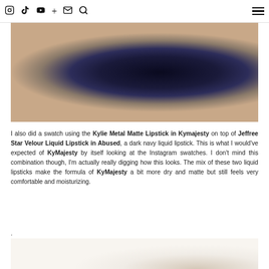Instagram | YouTube | Facebook | + | Email | Search | Menu
[Figure (photo): Close-up photo of lips wearing a dark navy/metallic blue-black lipstick, with a textured shimmery finish. Skin visible below the lips.]
I also did a swatch using the Kylie Metal Matte Lipstick in Kymajesty on top of Jeffree Star Velour Liquid Lipstick in Abused, a dark navy liquid lipstick. This is what I would've expected of KyMajesty by itself looking at the Instagram swatches. I don't mind this combination though, I'm actually really digging how this looks. The mix of these two liquid lipsticks make the formula of KyMajesty a bit more dry and matte but still feels very comfortable and moisturizing.
.
[Figure (photo): Partial bottom photo, light beige/cream background with the top of a cosmetic product or swatch beginning to appear.]